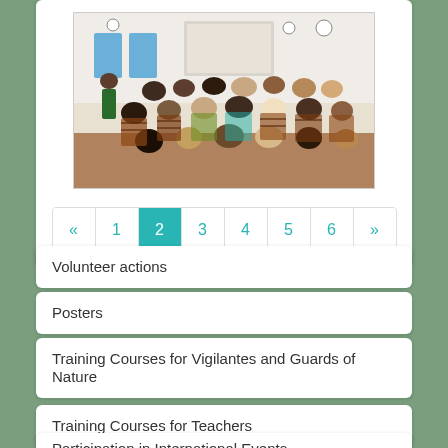[Figure (photo): Classroom scene with people seated in chairs facing a presentation screen at the front of a white-walled room]
« 1 2 3 4 5 6 »
Volunteer actions
Posters
Training Courses for Vigilantes and Guards of Nature
Training Courses for Teachers
Participation in International Events